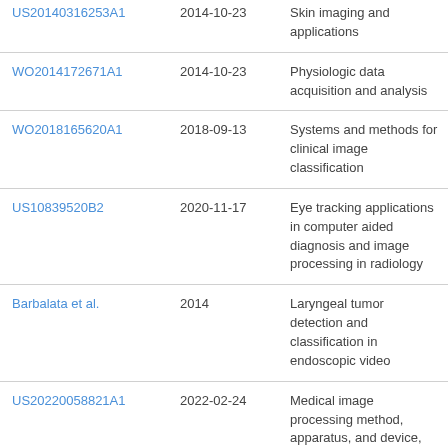| Reference | Date | Title |
| --- | --- | --- |
| US20140316253A1 | 2014-10-23 | Skin imaging and applications |
| WO2014172671A1 | 2014-10-23 | Physiologic data acquisition and analysis |
| WO2018165620A1 | 2018-09-13 | Systems and methods for clinical image classification |
| US10839520B2 | 2020-11-17 | Eye tracking applications in computer aided diagnosis and image processing in radiology |
| Barbalata et al. | 2014 | Laryngeal tumor detection and classification in endoscopic video |
| US20220058821A1 | 2022-02-24 | Medical image processing method, apparatus, and device, medium, and endoscope |